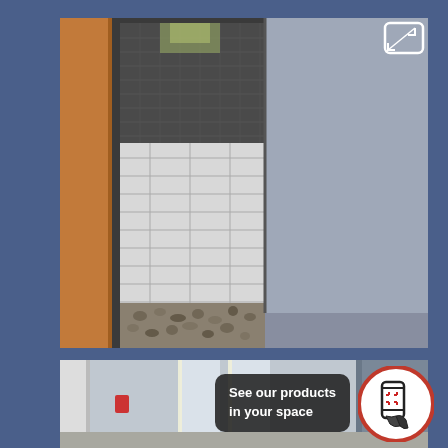[Figure (photo): Photo of a bathroom interior showing a walk-in shower with dark mosaic tile upper walls, white subway tile lower walls, pebble tile floor, a wooden door frame on the left, and a grey-painted wall on the right.]
[Figure (photo): Partially visible photo of a bathroom or hallway interior with mirrors, light fixtures, and cabinetry. Overlaid with a dark pill-shaped badge reading 'See our products in your space' and a circular white AR/phone icon badge.]